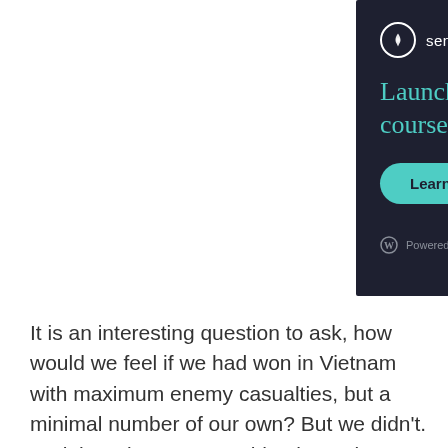[Figure (other): Advertisement banner for Sensei – Launch your online course with WordPress. Dark navy background with teal headline text, teal 'Learn More' button, and 'Powered by WordPress.com' footer with WordPress logo.]
It is an interesting question to ask, how would we feel if we had won in Vietnam with maximum enemy casualties, but a minimal number of our own? But we didn't. And there is no acceptable alternative to victory.